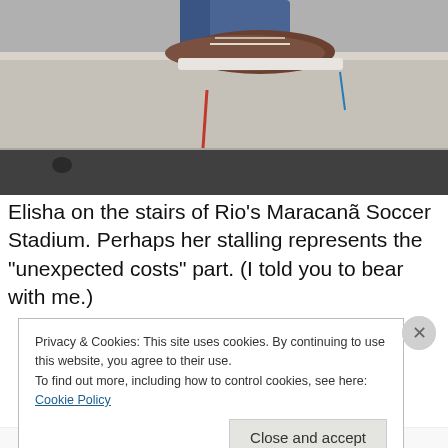[Figure (photo): Photo showing feet/shoes on concrete stairs of Rio's Maracanã Soccer Stadium, with a red vertical mark and blue mark visible on the step surface, and a dark step edge at the bottom.]
Elisha on the stairs of Rio's Maracanã Soccer Stadium. Perhaps her stalling represents the "unexpected costs" part. (I told you to bear with me.)
Privacy & Cookies: This site uses cookies. By continuing to use this website, you agree to their use.
To find out more, including how to control cookies, see here: Cookie Policy
Close and accept